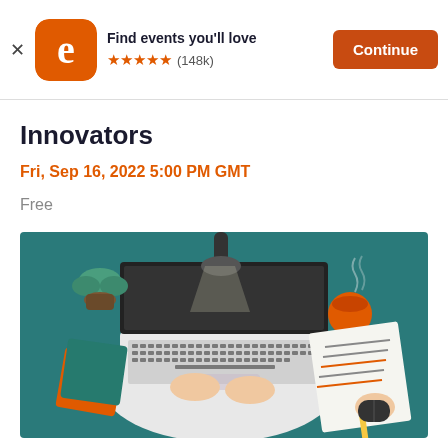Find events you'll love ★★★★★ (148k) Continue
Innovators
Fri, Sep 16, 2022 5:00 PM GMT
Free
[Figure (illustration): Top-down view illustration of a person typing on a laptop with a coffee cup, notebook, books, and mouse on a teal desk surface with a lamp illuminating the scene.]